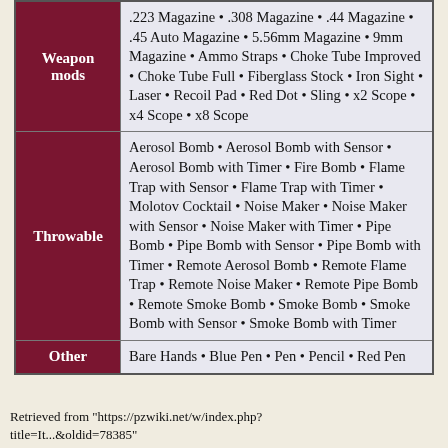| Category | Items |
| --- | --- |
| Weapon mods | .223 Magazine • .308 Magazine • .44 Magazine • .45 Auto Magazine • 5.56mm Magazine • 9mm Magazine • Ammo Straps • Choke Tube Improved • Choke Tube Full • Fiberglass Stock • Iron Sight • Laser • Recoil Pad • Red Dot • Sling • x2 Scope • x4 Scope • x8 Scope |
| Throwable | Aerosol Bomb • Aerosol Bomb with Sensor • Aerosol Bomb with Timer • Fire Bomb • Flame Trap with Sensor • Flame Trap with Timer • Molotov Cocktail • Noise Maker • Noise Maker with Sensor • Noise Maker with Timer • Pipe Bomb • Pipe Bomb with Sensor • Pipe Bomb with Timer • Remote Aerosol Bomb • Remote Flame Trap • Remote Noise Maker • Remote Pipe Bomb • Remote Smoke Bomb • Smoke Bomb • Smoke Bomb with Sensor • Smoke Bomb with Timer |
| Other | Bare Hands • Blue Pen • Pen • Pencil • Red Pen |
Retrieved from "https://pzwiki.net/w/index.php? title=It...